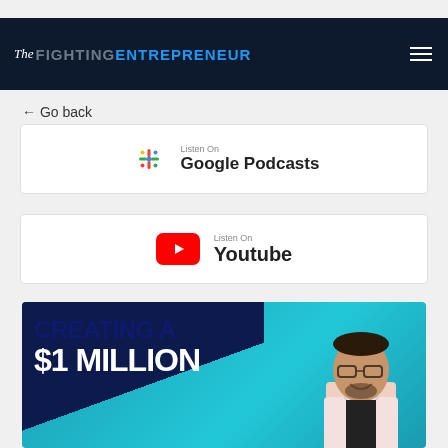The Fighting Entrepreneur
← Go back
[Figure (logo): Google Podcasts badge: Listen On Google Podcasts]
[Figure (logo): YouTube badge: Listen On Youtube]
[Figure (photo): Thumbnail image with text CREATING A $1 MILLION and a man smiling wearing glasses and pink shirt against teal background]